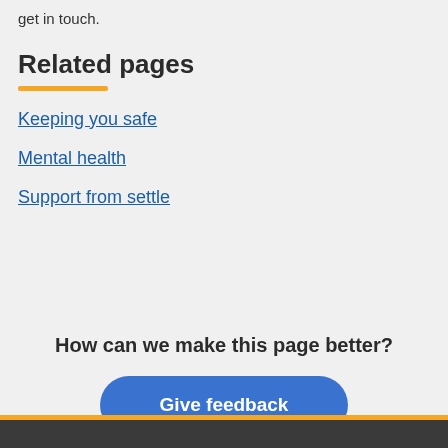get in touch.
Related pages
Keeping you safe
Mental health
Support from settle
How can we make this page better?
Give feedback